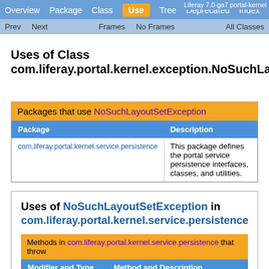Overview | Package | Class | Use | Tree | Deprecated | Index | Help | Prev | Next | Frames | No Frames | All Classes | Liferay 7.0-ga7 portal-kernel
Uses of Class com.liferay.portal.kernel.exception.NoSuchLayoutSetException
| Package | Description |
| --- | --- |
| com.liferay.portal.kernel.service.persistence | This package defines the portal service persistence interfaces, classes, and utilities. |
Uses of NoSuchLayoutSetException in com.liferay.portal.kernel.service.persistence
| Modifier and Type | Method and Description |
| --- | --- |